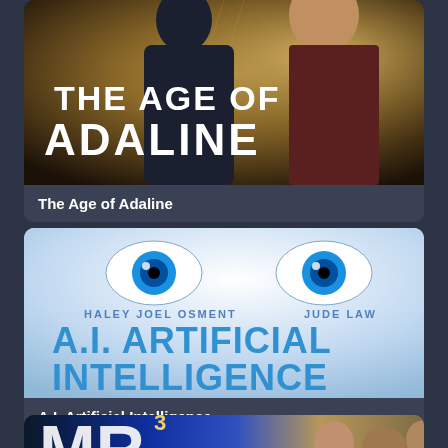[Figure (photo): Movie poster for The Age of Adaline showing two people (a man in a suit and a woman with blonde hair) against a gold art deco background with the title text 'THE AGE OF ADALINE']
The Age of Adaline
[Figure (photo): Movie poster for A.I. Artificial Intelligence showing two large blue eyes at the top, text 'HALEY JOEL OSMENT' and 'JUDE LAW' and the title 'A.I. ARTIFICIAL INTELLIGENCE' in metallic blue letters on a white/light blue background]
A.I. Artificial Intelligence
[Figure (photo): Partial movie poster for Mr. (title cut off at bottom) showing partial large stylized letters and people's faces]